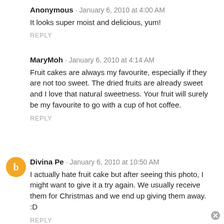Anonymous · January 6, 2010 at 4:00 AM
It looks super moist and delicious, yum!
REPLY
MaryMoh · January 6, 2010 at 4:14 AM
Fruit cakes are always my favourite, especially if they are not too sweet. The dried fruits are already sweet and I love that natural sweetness. Your fruit will surely be my favourite to go with a cup of hot coffee.
REPLY
Divina Pe · January 6, 2010 at 10:50 AM
I actually hate fruit cake but after seeing this photo, I might want to give it a try again. We usually receive them for Christmas and we end up giving them away. :D
REPLY